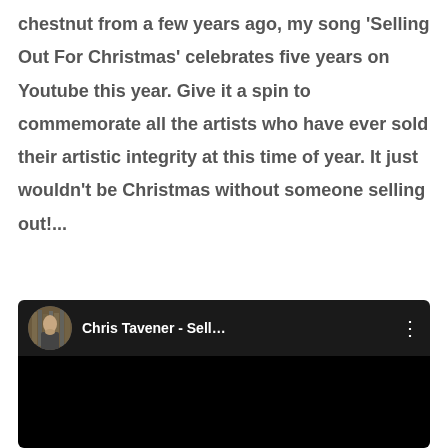chestnut from a few years ago, my song 'Selling Out For Christmas' celebrates five years on Youtube this year. Give it a spin to commemorate all the artists who have ever sold their artistic integrity at this time of year. It just wouldn't be Christmas without someone selling out!...
[Figure (screenshot): YouTube video thumbnail/player for 'Chris Tavener - Sell...' with a circular avatar showing a person in front of bookshelves, dark background with video controls area.]